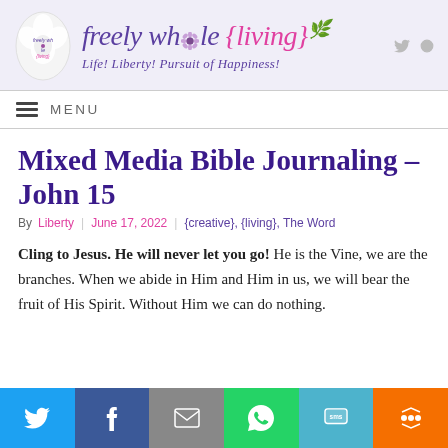freely whole {living} — Life! Liberty! Pursuit of Happiness!
MENU
Mixed Media Bible Journaling – John 15
By Liberty | June 17, 2022 | {creative}, {living}, The Word
Cling to Jesus. He will never let you go! He is the Vine, we are the branches. When we abide in Him and Him in us, we will bear the fruit of His Spirit. Without Him we can do nothing.
Share bar: Twitter, Facebook, Email, WhatsApp, SMS, More